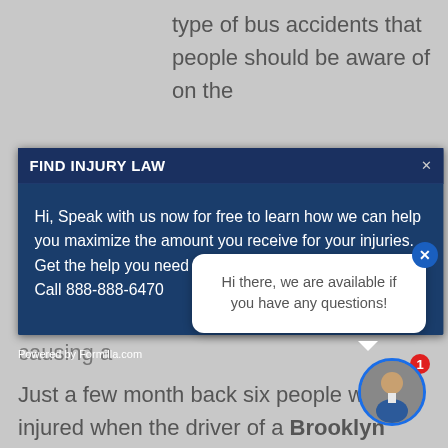type of bus accidents that people should be aware of on the
[Figure (screenshot): Modal popup for 'FIND INJURY LAW' with dark blue background, showing header 'FIND INJURY LAW' with close button, and body text: 'Hi, Speak with us now for free to learn how we can help you maximize the amount you receive for your injuries. Get the help you need and deserve. No fee guarantee! Call 888-888-6470']
[Figure (screenshot): Chat widget bubble saying 'Hi there, we are available if you have any questions!' with a blue close button, and an avatar circle with a notification badge showing '1']
causing a
Powered by Formilla.com
Just a few month back six people were injured when the driver of a Brooklyn